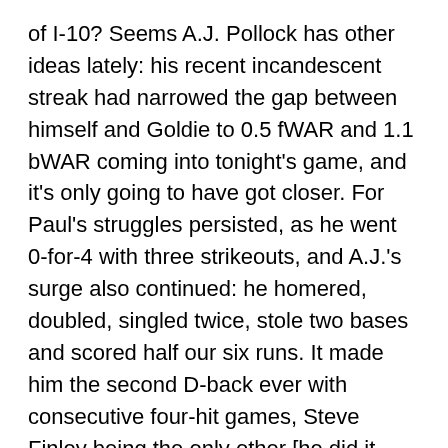of I-10? Seems A.J. Pollock has other ideas lately: his recent incandescent streak had narrowed the gap between himself and Goldie to 0.5 fWAR and 1.1 bWAR coming into tonight's game, and it's only going to have got closer. For Paul's struggles persisted, as he went 0-for-4 with three strikeouts, and A.J.'s surge also continued: he homered, doubled, singled twice, stole two bases and scored half our six runs. It made him the second D-back ever with consecutive four-hit games, Steve Finley being the only other [he did it twice, Sep 6-7, 2003 and June 1-2, 1999]
Pollock is now hitting .408 for the month of August, and has been hotter even than that recently. Over his last 11 appearances, he has seven multi-hit games, and four of those were with three or more hits. Tonight made him the only player in the majors this season